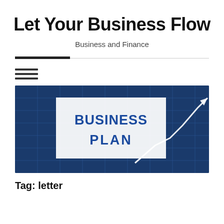Let Your Business Flow
Business and Finance
[Figure (illustration): Business plan promotional image with white card showing 'BUSINESS PLAN' text in blue bold letters, set against a dark blue grid background with a white upward-trending arrow chart on the right side.]
Tag: letter